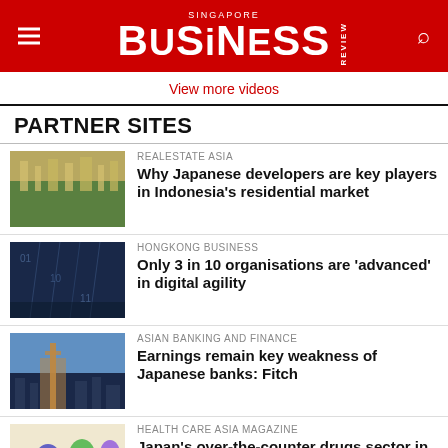Singapore Business Review
View more videos
PARTNER SITES
[Figure (photo): Aerial city view with green areas - RealEstate Asia]
REALESTATE ASIA
Why Japanese developers are key players in Indonesia's residential market
[Figure (photo): Dark digital rain / Hong Kong Business]
HONGKONG BUSINESS
Only 3 in 10 organisations are 'advanced' in digital agility
[Figure (photo): City skyline with Tokyo tower - Asian Banking and Finance]
ASIAN BANKING AND FINANCE
Earnings remain key weakness of Japanese banks: Fitch
[Figure (photo): Colorful pills and capsules - Health Care Asia Magazine]
HEALTH CARE ASIA MAGAZINE
Japan's over-the-counter drugs sector in the doldrums
[Figure (photo): Retail Asia partial thumbnail]
RETAIL ASIA